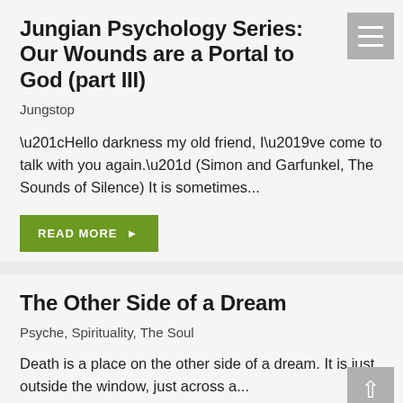Jungian Psychology Series: Our Wounds are a Portal to God (part III)
Jungstop
“Hello darkness my old friend, I’ve come to talk with you again.” (Simon and Garfunkel, The Sounds of Silence) It is sometimes…
READ MORE ►
The Other Side of a Dream
Psyche, Spirituality, The Soul
Death is a place on the other side of a dream. It is just outside the window, just across a…